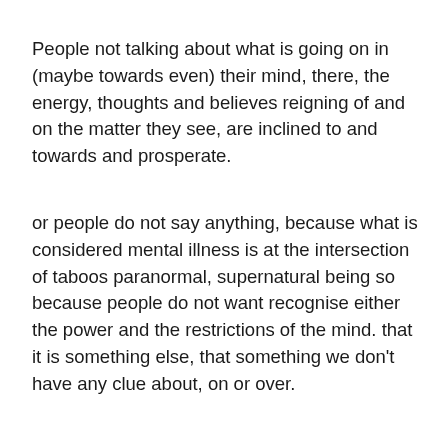People not talking about what is going on in (maybe towards even) their mind, there, the energy, thoughts and believes reigning of and on the matter they see, are inclined to and towards and prosperate.
or people do not say anything, because what is considered mental illness is at the intersection of taboos paranormal, supernatural being so because people do not want recognise either the power and the restrictions of the mind. that it is something else, that something we don't have any clue about, on or over.